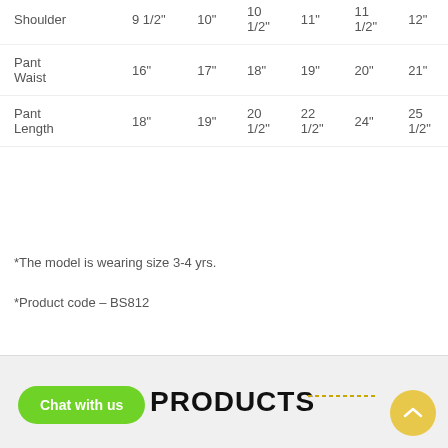|  | col1 | col2 | col3 | col4 | col5 | col6 |
| --- | --- | --- | --- | --- | --- | --- |
| Shoulder | 9 1/2" | 10" | 10 1/2" | 11" | 11 1/2" | 12" |
| Pant Waist | 16" | 17" | 18" | 19" | 20" | 21" |
| Pant Length | 18" | 19" | 20 1/2" | 22 1/2" | 24" | 25 1/2" |
*The model is wearing size 3-4 yrs.
*Product code – BS812
RELATED PRODUCTS